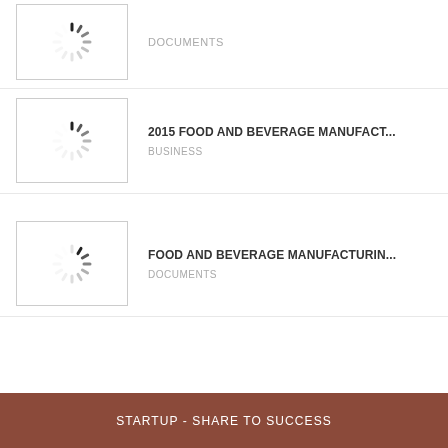[Figure (screenshot): Loading spinner thumbnail, first item]
DOCUMENTS
[Figure (screenshot): Loading spinner thumbnail, second item]
2015 FOOD AND BEVERAGE MANUFACT...
BUSINESS
[Figure (screenshot): Loading spinner thumbnail, third item]
FOOD AND BEVERAGE MANUFACTURIN...
DOCUMENTS
[Figure (screenshot): Loading spinner thumbnail, fourth item]
MANAGING FOOD AND BEVERAGE MAN...
DOCUMENTS
View More
STARTUP - SHARE TO SUCCESS